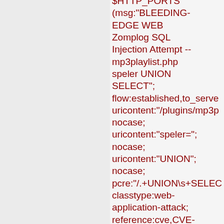$HTTP_PORTS (msg:"BLEEDING-EDGE WEB Zomplog SQL Injection Attempt -- mp3playlist.php speler UNION SELECT"; flow:established,to_server; uricontent:"/plugins/mp3p nocase; uricontent:"speler="; nocase; uricontent:"UNION"; nocase; pcre:"/.+UNION\s+SELECT classtype:web-application-attack; reference:cve,CVE-2007-2773; reference:url,www.milw0r sid:2003982; rev:2;)